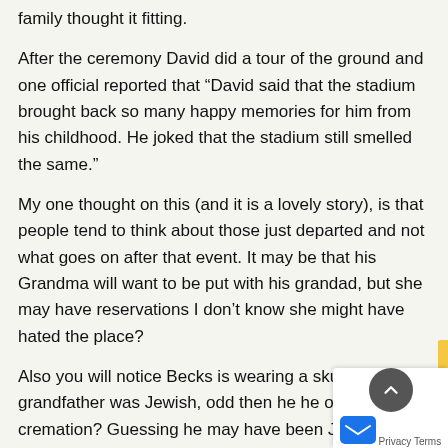family thought it fitting.
After the ceremony David did a tour of the ground and one official reported that “David said that the stadium brought back so many happy memories for him from his childhood. He joked that the stadium still smelled the same.”
My one thought on this (and it is a lovely story), is that people tend to think about those just departed and not what goes on after that event. It may be that his Grandma will want to be put with his grandad, but she may have reservations I don’t know she might have hated the place?
Also you will notice Becks is wearing a skull cap, his grandfather was Jewish, odd then he he opted for cremation? Guessing he may have been Jewish by tradition as oppo belief?